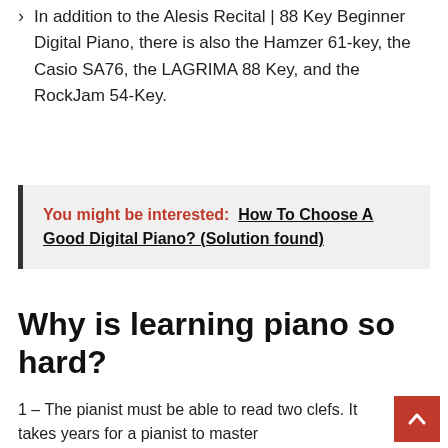In addition to the Alesis Recital | 88 Key Beginner Digital Piano, there is also the Hamzer 61-key, the Casio SA76, the LAGRIMA 88 Key, and the RockJam 54-Key.
You might be interested: How To Choose A Good Digital Piano? (Solution found)
Why is learning piano so hard?
1 – The pianist must be able to read two clefs. It takes years for a pianist to master